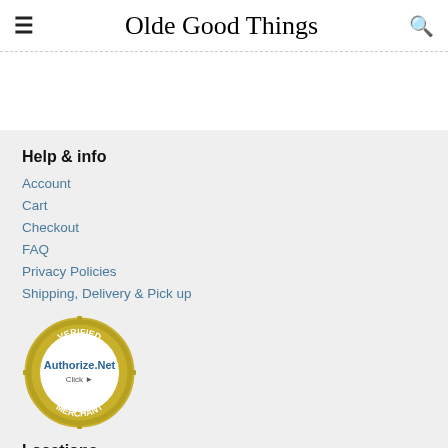Olde Good Things
Help & info
Account
Cart
Checkout
FAQ
Privacy Policies
Shipping, Delivery & Pick up
[Figure (logo): Authorize.Net Verified Merchant badge - circular gold/olive badge with 'VERIFIED', 'Authorize.Net', 'Click', and 'MERCHANT' text]
Locations